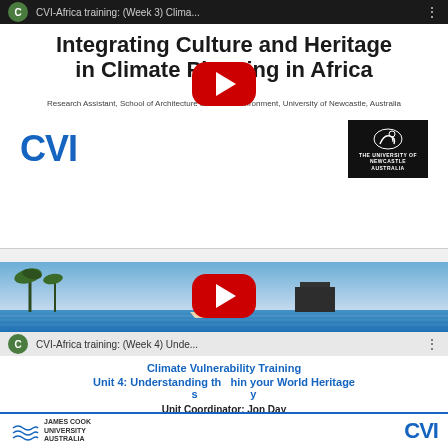[Figure (screenshot): YouTube video thumbnail for CVI-Africa training Week 3 - slide showing 'Integrating Culture and Heritage in Climate Planning in Africa' with CVI and University of Newcastle logos and red YouTube play button]
[Figure (screenshot): YouTube video thumbnail for CVI-Africa training Week 4 - slide showing 'Climate Vulnerability Training Unit 4: Understanding the ... within your World Heritage s...y' with Unit Coordinator Jon Day and Zoom presenters, James Cook University and CVI logos at bottom with blue divider line]